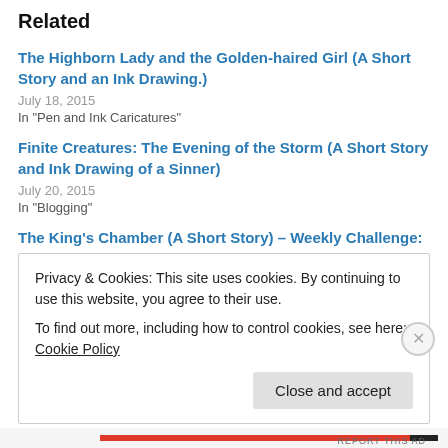Related
The Highborn Lady and the Golden-haired Girl (A Short Story and an Ink Drawing.)
July 18, 2015
In "Pen and Ink Caricatures"
Finite Creatures: The Evening of the Storm (A Short Story and Ink Drawing of a Sinner)
July 20, 2015
In "Blogging"
The King's Chamber (A Short Story) – Weekly Challenge: Literary Lion. King.
July 22, 2015
Privacy & Cookies: This site uses cookies. By continuing to use this website, you agree to their use.
To find out more, including how to control cookies, see here: Cookie Policy